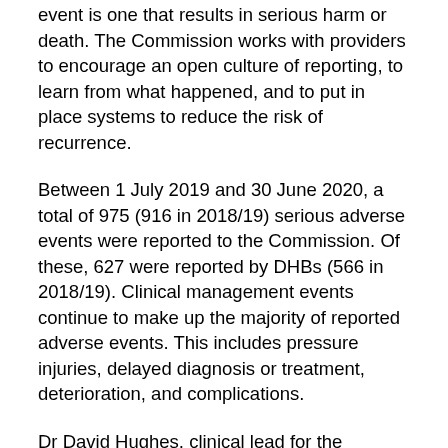event is one that results in serious harm or death. The Commission works with providers to encourage an open culture of reporting, to learn from what happened, and to put in place systems to reduce the risk of recurrence.
Between 1 July 2019 and 30 June 2020, a total of 975 (916 in 2018/19) serious adverse events were reported to the Commission. Of these, 627 were reported by DHBs (566 in 2018/19). Clinical management events continue to make up the majority of reported adverse events. This includes pressure injuries, delayed diagnosis or treatment, deterioration, and complications.
Dr David Hughes, clinical lead for the Commission's adverse events programme, says that with lockdown and the ongoing COVID-19 response, this year has been extremely challenging for the health and disability sector.